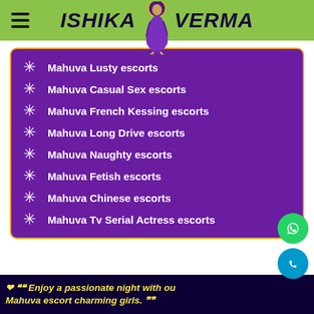ISHIKA VERMA
Mahuva Lusty escorts
Mahuva Casual Sex escorts
Mahuva French Kessing escorts
Mahuva Long Drive escorts
Mahuva Naughty escorts
Mahuva Fetish escorts
Mahuva Chinese escorts
Mahuva Tv Serial Actress escorts
❤ ❝❝ Enjoy a passionate night with our Mahuva escort charming girls. ❞❞